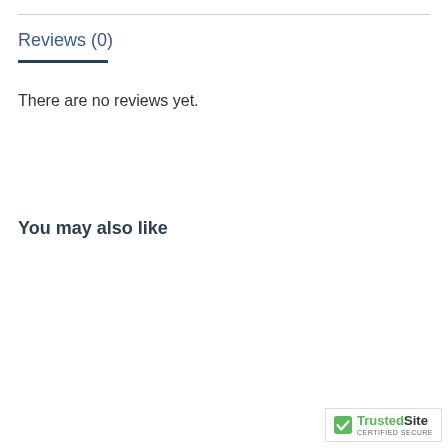Reviews (0)
There are no reviews yet.
You may also like
[Figure (other): Two empty product placeholder cards side by side]
[Figure (logo): TrustedSite Certified Secure badge]